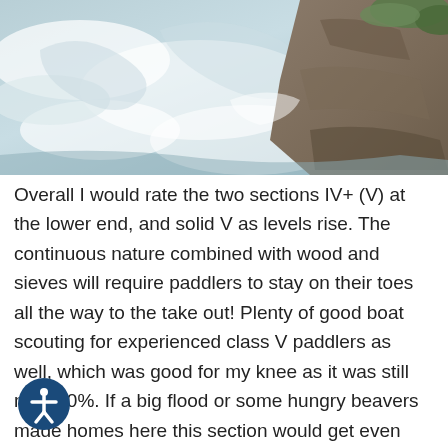[Figure (photo): Aerial or close-up view of rushing white water rapids next to rocky terrain with some green vegetation visible in the upper right corner.]
Overall I would rate the two sections IV+ (V) at the lower end, and solid V as levels rise. The continuous nature combined with wood and sieves will require paddlers to stay on their toes all the way to the take out! Plenty of good boat scouting for experienced class V paddlers as well, which was good for my knee as it was still not 100%. If a big flood or some hungry beavers made homes here this section would get even better. As this stretch gets paddled more the lines will become more defined and it will certainly be a good alternative if